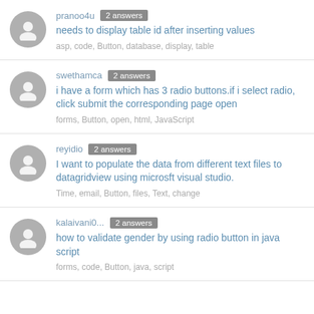pranoo4u · 2 answers · needs to display table id after inserting values · asp, code, Button, database, display, table
swethamca · 2 answers · i have a form which has 3 radio buttons.if i select radio, click submit the corresponding page open · forms, Button, open, html, JavaScript
reyidio · 2 answers · I want to populate the data from different text files to datagridview using microsft visual studio. · Time, email, Button, files, Text, change
kalaivani0... · 2 answers · how to validate gender by using radio button in java script · forms, code, Button, java, script